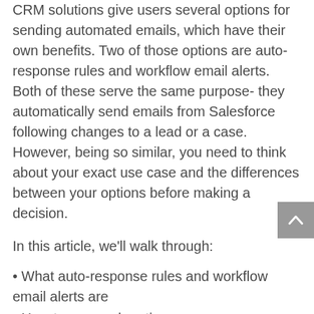CRM solutions give users several options for sending automated emails, which have their own benefits. Two of those options are auto-response rules and workflow email alerts. Both of these serve the same purpose- they automatically send emails from Salesforce following changes to a lead or a case. However, being so similar, you need to think about your exact use case and the differences between your options before making a decision.
In this article, we'll walk through:
What auto-response rules and workflow email alerts are
How to use each option
Examples of when it's best to use one method over another
By the end, you'll be able to start using your auto-response rules and workflow alerts to create automatic email alerts in Salesforce. Let's get started!